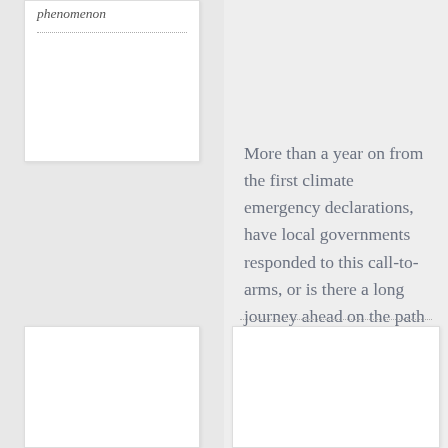phenomenon
More than a year on from the first climate emergency declarations, have local governments responded to this call-to-arms, or is there a long journey ahead on the path to action?